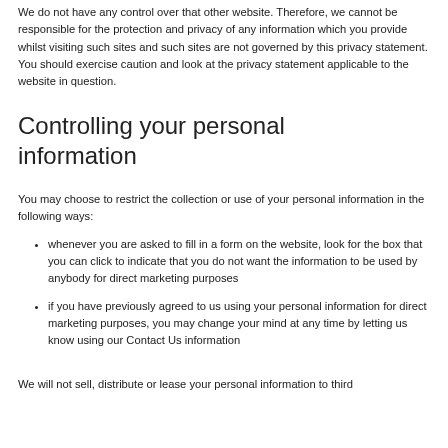We do not have any control over that other website. Therefore, we cannot be responsible for the protection and privacy of any information which you provide whilst visiting such sites and such sites are not governed by this privacy statement. You should exercise caution and look at the privacy statement applicable to the website in question.
Controlling your personal information
You may choose to restrict the collection or use of your personal information in the following ways:
whenever you are asked to fill in a form on the website, look for the box that you can click to indicate that you do not want the information to be used by anybody for direct marketing purposes
if you have previously agreed to us using your personal information for direct marketing purposes, you may change your mind at any time by letting us know using our Contact Us information
We will not sell, distribute or lease your personal information to third